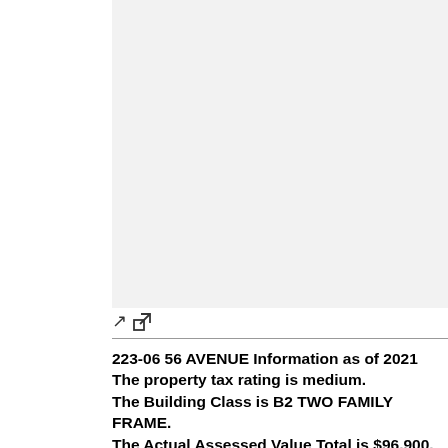[Figure (photo): Property photo placeholder area (light gray box)]
223-06 56 AVENUE Information as of 2021
The property tax rating is medium.
The Building Class is B2 TWO FAMILY FRAME.
The Actual Assessed Value Total is $96,900.
The Current Market Value is $1,615,000.
The Tax Class is 1.